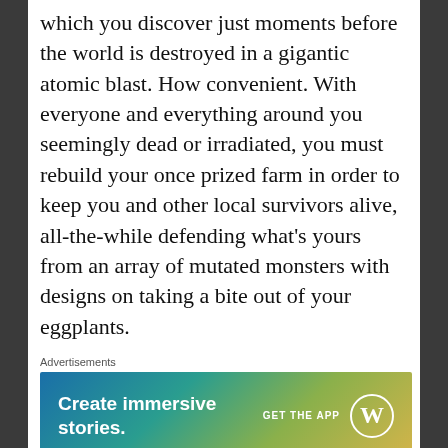which you discover just moments before the world is destroyed in a gigantic atomic blast. How convenient. With everyone and everything around you seemingly dead or irradiated, you must rebuild your once prized farm in order to keep you and other local survivors alive, all-the-while defending what's yours from an array of mutated monsters with designs on taking a bite out of your eggplants.
[Figure (screenshot): Advertisement banner for WordPress: 'Create immersive stories. GET THE APP' with WordPress logo on a blue-green-yellow gradient background.]
The game opens with some very familiar animation, that feels a lot like the work of Pen Ward – you know, the guy behind Adventure Time, and then eases you in with a pretty straight forward tutorial. From here on out though it's up to you. There are no easy solutions in Atomicrons, rather